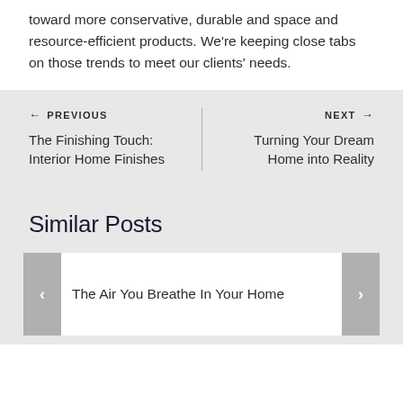toward more conservative, durable and space and resource-efficient products. We're keeping close tabs on those trends to meet our clients' needs.
← PREVIOUS
The Finishing Touch: Interior Home Finishes
NEXT →
Turning Your Dream Home into Reality
Similar Posts
The Air You Breathe In Your Home